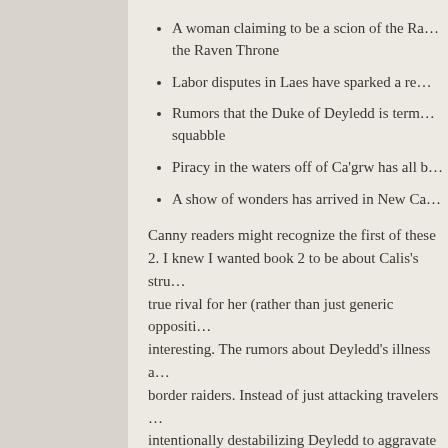A woman claiming to be a scion of the Ra… the Raven Throne
Labor disputes in Laes have sparked a re…
Rumors that the Duke of Deyledd is term… squabble
Piracy in the waters off of Ca'grw has all b…
A show of wonders has arrived in New Ca…
Canny readers might recognize the first of these … 2. I knew I wanted book 2 to be about Calis's stru… true rival for her (rather than just generic oppositi… interesting. The rumors about Deyledd's illness a… border raiders. Instead of just attacking travelers … intentionally destabilizing Deyledd to aggravate th… neighbors can take over a contested piece of ter…
The advantage to creating setting like this is that … the what happened. If I were to describe Deylede…